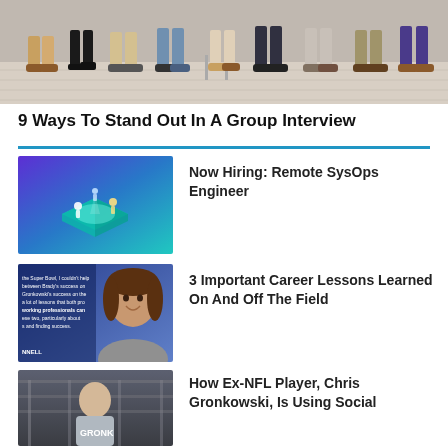[Figure (photo): Group of people seated in a row, only legs and feet visible, on a wooden floor background]
9 Ways To Stand Out In A Group Interview
[Figure (illustration): Isometric 3D illustration of people working around a glowing platform, blue-green gradient background - thumbnail for 'Now Hiring: Remote SysOps Engineer']
Now Hiring: Remote SysOps Engineer
[Figure (photo): Woman with long brown hair smiling, blue background with text overlay about Super Bowl and career lessons - thumbnail for article]
3 Important Career Lessons Learned On And Off The Field
[Figure (photo): Man in warehouse/industrial setting with shelving in background - thumbnail for Chris Gronkowski article]
How Ex-NFL Player, Chris Gronkowski, Is Using Social